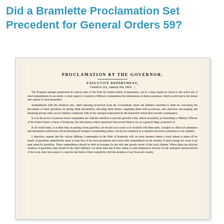Did a Bramlette Proclamation Set Precedent for General Orders 59?
[Figure (photo): A scanned historical document page showing 'PROCLAMATION BY THE GOVERNOR' from the Executive Department, Frankfort, Ky., January 6th, 1864. The proclamation discusses guerrilla outrages in Kentucky and requests military commanders to take action against rebel sympathizers.]